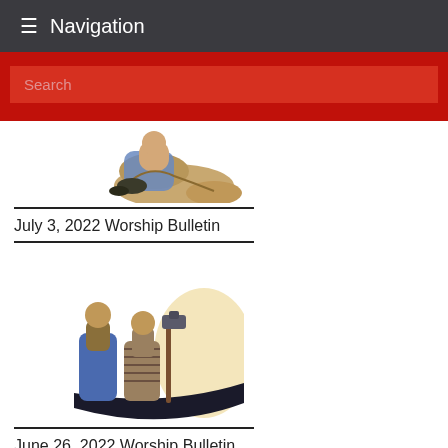≡ Navigation
Search
[Figure (illustration): Partial illustration of a kneeling figure in robes, cropped at top of frame]
July 3, 2022 Worship Bulletin
[Figure (illustration): Two robed figures walking, one holding a staff, with a boat shape behind them]
June 26, 2022 Worship Bulletin